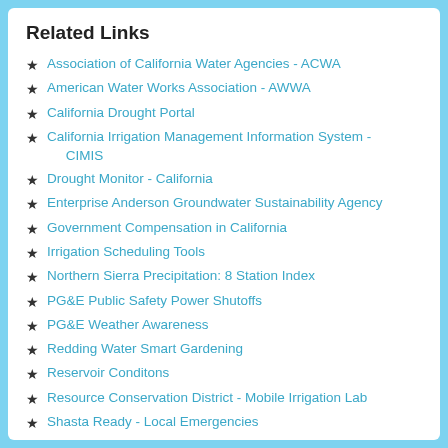Related Links
Association of California Water Agencies - ACWA
American Water Works Association - AWWA
California Drought Portal
California Irrigation Management Information System - CIMIS
Drought Monitor - California
Enterprise Anderson Groundwater Sustainability Agency
Government Compensation in California
Irrigation Scheduling Tools
Northern Sierra Precipitation: 8 Station Index
PG&E Public Safety Power Shutoffs
PG&E Weather Awareness
Redding Water Smart Gardening
Reservoir Conditons
Resource Conservation District - Mobile Irrigation Lab
Shasta Ready - Local Emergencies
Underground Service Alert - Call 811
U.S. Bureau of Reclamation - California-Great Basin
U.S. Bureau of Reclamation - Central Valley Operations